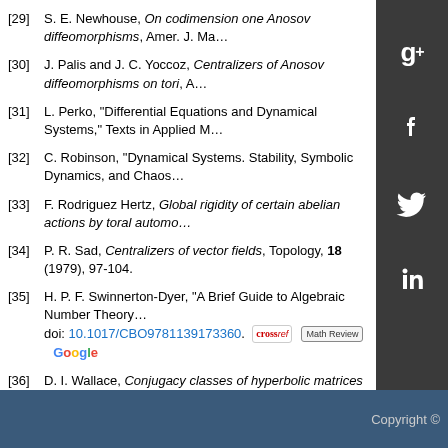[29] S. E. Newhouse, On codimension one Anosov diffeomorphisms, Amer. J. Ma…
[30] J. Palis and J. C. Yoccoz, Centralizers of Anosov diffeomorphisms on tori, A…
[31] L. Perko, "Differential Equations and Dynamical Systems," Texts in Applied M…
[32] C. Robinson, "Dynamical Systems. Stability, Symbolic Dynamics, and Chaos…
[33] F. Rodriguez Hertz, Global rigidity of certain abelian actions by toral automo…
[34] P. R. Sad, Centralizers of vector fields, Topology, 18 (1979), 97-104.
[35] H. P. F. Swinnerton-Dyer, "A Brief Guide to Algebraic Number Theory… doi: 10.1017/CBO9781139173360.
[36] D. I. Wallace, Conjugacy classes of hyperbolic matrices in $SL(n,Z)… 0735415-0.
[37] S. Wiggins, "Introduction to Applied Nonlinear Dynamical Systems a…
[38] F. W. Wilson, Jr., On the minimal sets of non-singular vector fields, A…
show all references
Copyright ©